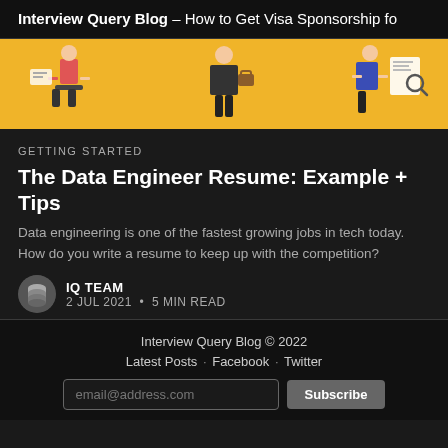Interview Query Blog – How to Get Visa Sponsorship fo
[Figure (illustration): Yellow background illustration showing people at work, including someone with a laptop, someone standing with a briefcase, and someone reviewing a document with a magnifying glass.]
GETTING STARTED
The Data Engineer Resume: Example + Tips
Data engineering is one of the fastest growing jobs in tech today. How do you write a resume to keep up with the competition?
IQ TEAM
2 JUL 2021 • 5 MIN READ
Interview Query Blog © 2022
Latest Posts · Facebook · Twitter